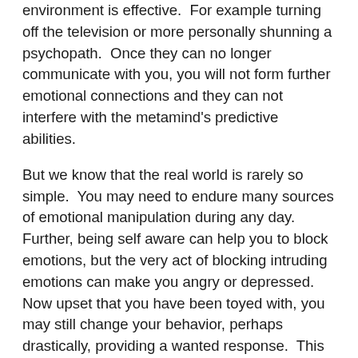environment is effective.  For example turning off the television or more personally shunning a psychopath.  Once they can no longer communicate with you, you will not form further emotional connections and they can not interfere with the metamind's predictive abilities.
But we know that the real world is rarely so simple.  You may need to endure many sources of emotional manipulation during any day.  Further, being self aware can help you to block emotions, but the very act of blocking intruding emotions can make you angry or depressed.  Now upset that you have been toyed with, you may still change your behavior, perhaps drastically, providing a wanted response.  This two layer manipulation is insidious, but hardly unstoppable.
Contrary to popular belief, forgiveness is a wholly personal affair.  While it may play an important role in your particular faith, it serves the health of your mind directly.  Another